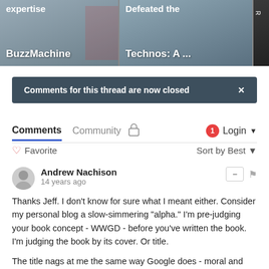[Figure (screenshot): Two thumbnail images at the top: left shows 'expertise BuzzMachine' text overlay on a gray background, right shows 'Defeated the Technos: A ...' text overlay on a gray background with a partial third thumbnail on the right edge.]
Comments for this thread are now closed
Comments
Community
Login
Favorite
Sort by Best
Andrew Nachison
14 years ago
Thanks Jeff. I don't know for sure what I meant either. Consider my personal blog a slow-simmering "alpha." I'm pre-judging your book concept - WWGD - before you've written the book. I'm judging the book by its cover. Or title.
The title nags at me the same way Google does - moral and righteous overtones applied to a company that seems to me